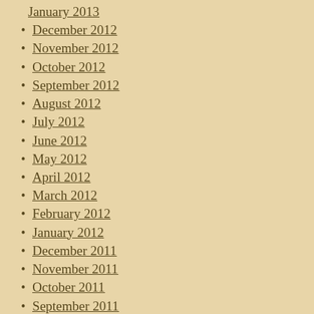January 2013 (partial, cut off at top)
December 2012
November 2012
October 2012
September 2012
August 2012
July 2012
June 2012
May 2012
April 2012
March 2012
February 2012
January 2012
December 2011
November 2011
October 2011
September 2011
August 2011
July 2011
June 2011
May 2011
April 2011 (partial, cut off at bottom)